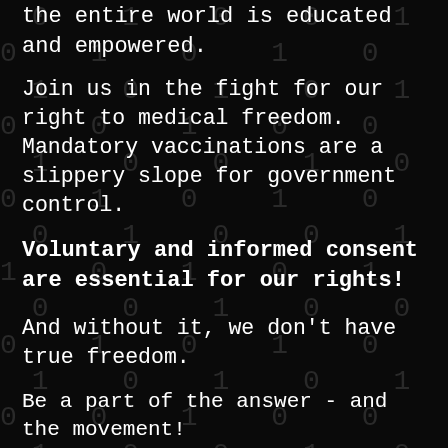the entire world is educated and empowered.
Join us in the fight for our right to medical freedom. Mandatory vaccinations are a slippery slope for government control.
Voluntary and informed consent are essential for our rights!
And without it, we don't have true freedom.
Be a part of the answer - and the movement!
Join us and top health leaders, doctors, and researchers.
Own this critical information now! Presented